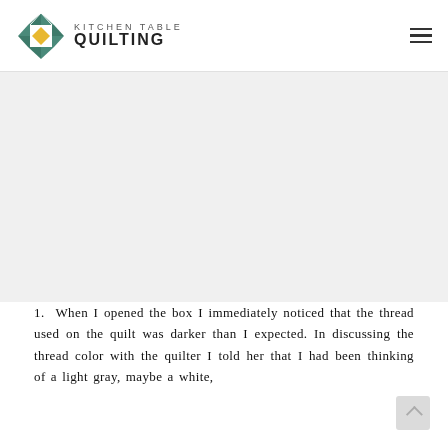Kitchen Table Quilting
[Figure (other): Advertisement or blank image placeholder area below the site header]
1.  When I opened the box I immediately noticed that the thread used on the quilt was darker than I expected. In discussing the thread color with the quilter I told her that I had been thinking of a light gray, maybe a white,